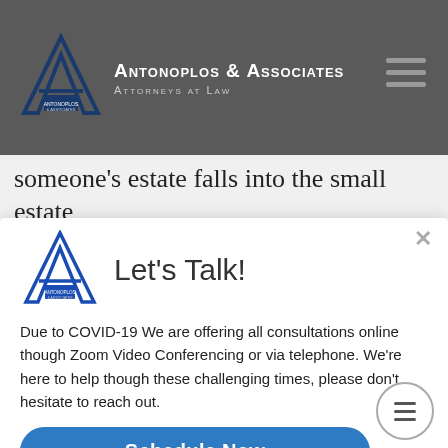Antonoplos & Associates Attorneys at Law
someone's estate falls into the small estate
[Figure (screenshot): Modal popup with Antonoplos & Associates logo, 'Let's Talk!' heading, COVID-19 consultation message, and Schedule Now button]
Due to COVID-19 We are offering all consultations online though Zoom Video Conferencing or via telephone. We're here to help though these challenging times, please don't hesitate to reach out.
Schedule Now